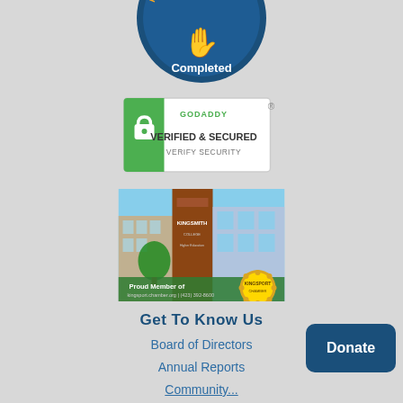[Figure (logo): Circular blue badge/seal with a hand icon and text 'Completed' and 'Requirements' at the top, partially cropped]
[Figure (logo): GoDaddy Verified & Secured badge with green lock icon, text 'GODADDY VERIFIED & SECURED VERIFY SECURITY' and registered trademark symbol]
[Figure (photo): Exterior photo of a multi-story office/college building with brick column signage reading 'KINGSMITH' and a gold seal overlay reading 'Proud Member of Kingsport Chamber', with phone number text at bottom]
Get To Know Us
Board of Directors
Annual Reports
Community...
[Figure (other): Dark blue rounded rectangle Donate button with white bold text 'Donate']